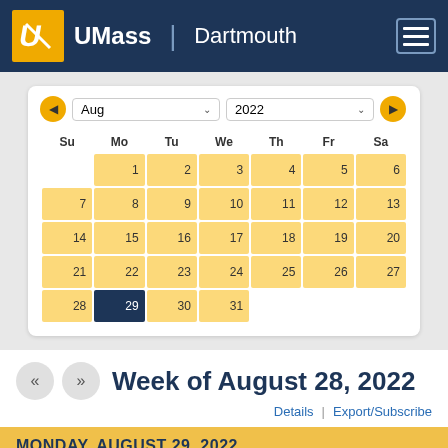[Figure (logo): UMass Dartmouth logo with yellow emblem and white text on navy background]
[Figure (screenshot): Interactive calendar widget showing August 2022, with date 29 selected (Monday)]
Week of August 28, 2022
Details | Export/Subscribe
MONDAY, AUGUST 29, 2022